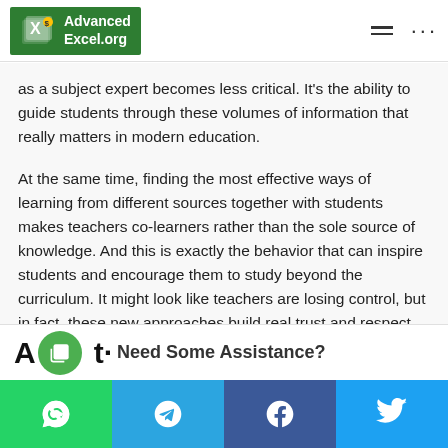AdvancedExcel.org
as a subject expert becomes less critical. It's the ability to guide students through these volumes of information that really matters in modern education.
At the same time, finding the most effective ways of learning from different sources together with students makes teachers co-learners rather than the sole source of knowledge. And this is exactly the behavior that can inspire students and encourage them to study beyond the curriculum. It might look like teachers are losing control, but in fact, these new approaches build real trust and respect within the class.
Need Some Assistance?
[Figure (other): Social sharing bar with WhatsApp, Telegram, Facebook, and Twitter icons]